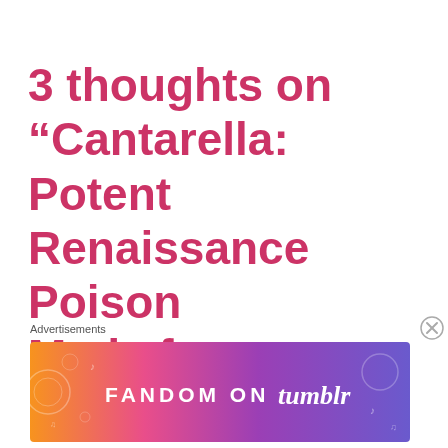3 thoughts on “Cantarella: Potent Renaissance Poison Made from Insects”
Advertisements
[Figure (illustration): Colorful Fandom on Tumblr advertisement banner with gradient background from orange to purple, featuring white text 'FANDOM ON tumblr' and decorative doodles]